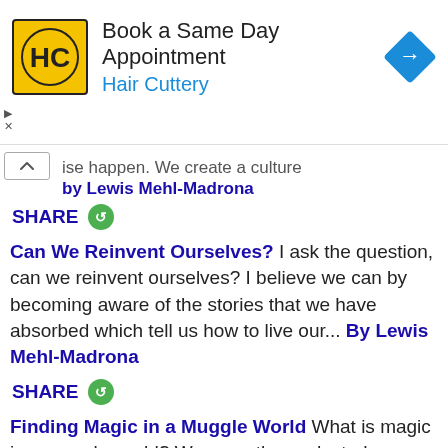[Figure (other): Hair Cuttery advertisement banner with yellow HC logo, text 'Book a Same Day Appointment' and 'Hair Cuttery' in blue, and a blue diamond-shaped arrow icon on the right.]
...ise happen. We create a culture
By Lewis Mehl-Madrona
SHARE
Can We Reinvent Ourselves? I ask the question, can we reinvent ourselves? I believe we can by becoming aware of the stories that we have absorbed which tell us how to live our... By Lewis Mehl-Madrona
SHARE
Finding Magic in a Muggle World What is magic in a muggle world? We recently conducted a workshop to explore that question. First, what arose was the idea our thoughts could influ...
By Lewis Mehl-Madrona